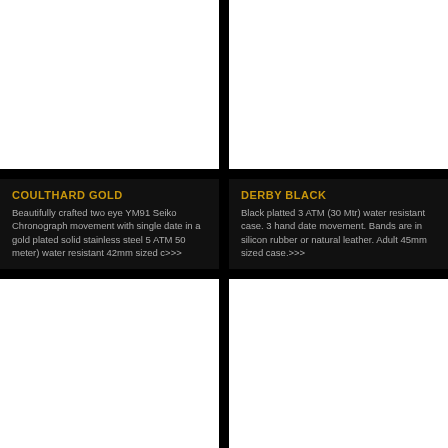[Figure (photo): White product image area - Coulthard Gold watch (top left)]
[Figure (photo): White product image area - Derby Black watch (top right)]
COULTHARD GOLD
Beautifully crafted two eye YM91 Seiko Chronograph movement with single date in a gold plated solid stainless steel 5 ATM 50 meter) water resistant 42mm sized c>>>
DERBY BLACK
Black platted 3 ATM (30 Mtr) water resistant case. 3 hand date movement. Bands are in silicon rubber or natural leather. Adult 45mm sized case.>>>
[Figure (photo): White product image area - bottom left watch]
[Figure (photo): White product image area - bottom right watch]